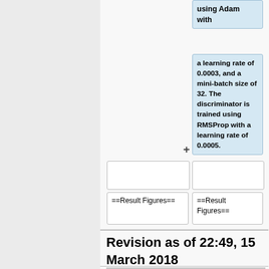using Adam with
a learning rate of 0.0003, and a mini-batch size of 32. The discriminator is trained using RMSProp with a learning rate of 0.0005.
+
==Result Figures==
==Result Figures==
Revision as of 22:49, 15 March 2018
| Source | un homme est d |
| --- | --- |